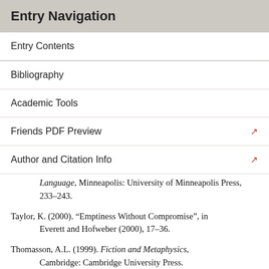Entry Navigation
Entry Contents
Bibliography
Academic Tools
Friends PDF Preview
Author and Citation Info
Language, Minneapolis: University of Minneapolis Press, 233–243.
Taylor, K. (2000). “Emptiness Without Compromise”, in Everett and Hofweber (2000), 17–36.
Thomasson, A.L. (1999). Fiction and Metaphysics, Cambridge: Cambridge University Press.
—— (2003a). “Fictional Characters and Literary Practices”, British Journal of Aesthetics, 43: 138–157.
—— (2003b). “Speaking of Fictional Characters”,